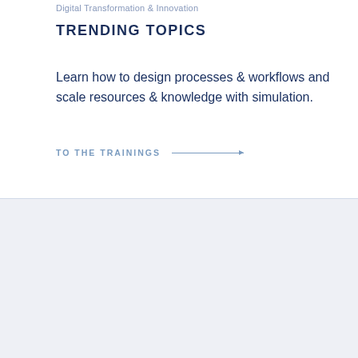Digital Transformation & Innovation
TRENDING TOPICS
Learn how to design processes & workflows and scale resources & knowledge with simulation.
TO THE TRAININGS →
GET AN INSIGHT INTO CADFEM TRAININGS
TRY OUT SELECTED MODULES FOR FREE